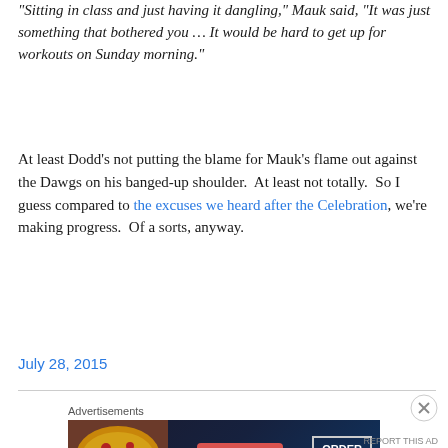“Sitting in class and just having it dangling,” Mauk said, “It was just something that bothered you … It would be hard to get up for workouts on Sunday morning.”
At least Dodd’s not putting the blame for Mauk’s flame out against the Dawgs on his banged-up shoulder. At least not totally. So I guess compared to the excuses we heard after the Celebration, we’re making progress. Of a sorts, anyway.
July 28, 2015
[Figure (other): Seamless food delivery advertisement banner with pizza image on the left, Seamless logo in red badge in the center, and ORDER NOW button on the right against a dark background.]